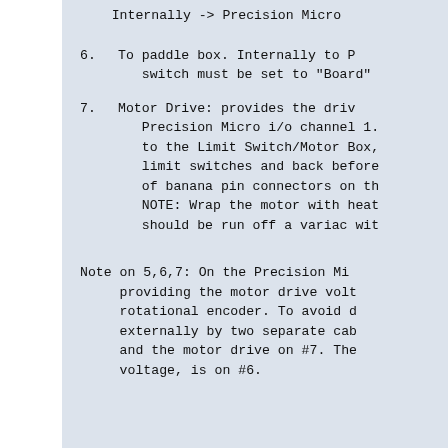Internally -> Precision Micro
6.  To paddle box. Internally to P... switch must be set to "Board"
7.  Motor Drive: provides the driv... Precision Micro i/o channel 1. to the Limit Switch/Motor Box, limit switches and back before of banana pin connectors on th NOTE: Wrap the motor with heat should be run off a variac wit
Note on 5,6,7: On the Precision Mi providing the motor drive volt rotational encoder. To avoid d externally by two separate cab and the motor drive on #7. The voltage, is on #6.